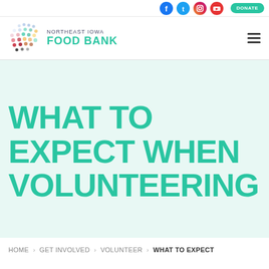Social icons and DONATE button
[Figure (logo): Northeast Iowa Food Bank logo with colorful dot pattern and teal 'FOOD BANK' text]
WHAT TO EXPECT WHEN VOLUNTEERING
HOME > GET INVOLVED > VOLUNTEER > WHAT TO EXPECT